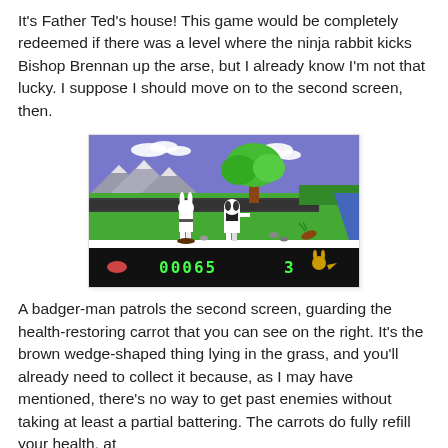It's Father Ted's house! This game would be completely redeemed if there was a level where the ninja rabbit kicks Bishop Brennan up the arse, but I already know I'm not that lucky. I suppose I should move on to the second screen, then.
[Figure (screenshot): Retro video game screenshot showing a side-scrolling platformer with a ninja rabbit character and a badger-man enemy on a green field with trees, mountains and blue sky. Score display at bottom shows 00065 with 3 lives.]
A badger-man patrols the second screen, guarding the health-restoring carrot that you can see on the right. It's the brown wedge-shaped thing lying in the grass, and you'll already need to collect it because, as I may have mentioned, there's no way to get past enemies without taking at least a partial battering. The carrots do fully refill your health, at